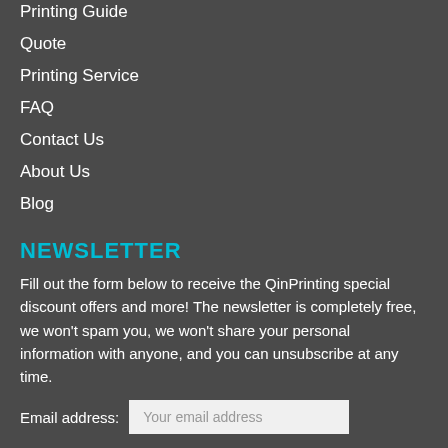Printing Guide
Quote
Printing Service
FAQ
Contact Us
About Us
Blog
NEWSLETTER
Fill out the form below to receive the QinPrinting special discount offers and more! The newsletter is completely free, we won't spam you, we won't share your personal information with anyone, and you can unsubscribe at any time.
Email address: Your email address